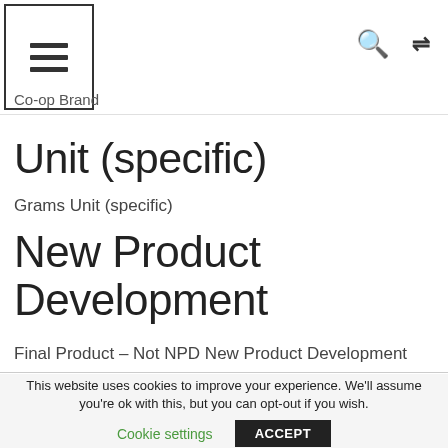Co-op Brand
Unit (specific)
Grams Unit (specific)
New Product Development
Final Product – Not NPD New Product Development
This website uses cookies to improve your experience. We'll assume you're ok with this, but you can opt-out if you wish.
Cookie settings    ACCEPT